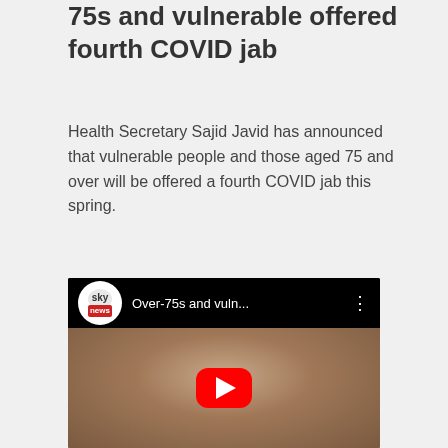75s and vulnerable offered fourth COVID jab
Health Secretary Sajid Javid has announced that vulnerable people and those aged 75 and over will be offered a fourth COVID jab this spring.
[Figure (screenshot): Sky News YouTube video thumbnail showing a hand holding a syringe/vial, with video title 'Over-75s and vuln...' and Sky News logo]